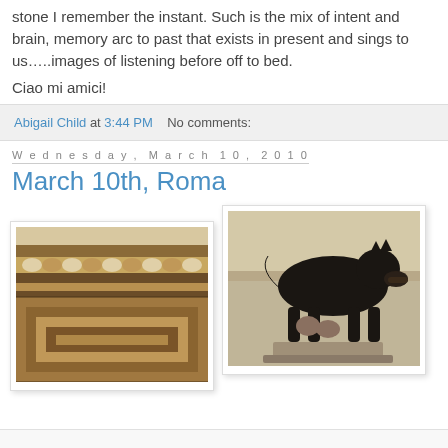stone I remember the instant. Such is the mix of intent and brain, memory arc to past that exists in present and sings to us…..images of listening before off to bed.
Ciao mi amici!
Abigail Child at 3:44 PM   No comments:
Wednesday, March 10, 2010
March 10th, Roma
[Figure (photo): Photograph of a Roman mosaic floor with geometric patterns in earth tones — browns, tans, and ochres]
[Figure (photo): Photograph of the Capitoline Wolf bronze sculpture — a she-wolf nursing Romulus and Remus, displayed on a pedestal in a museum setting]